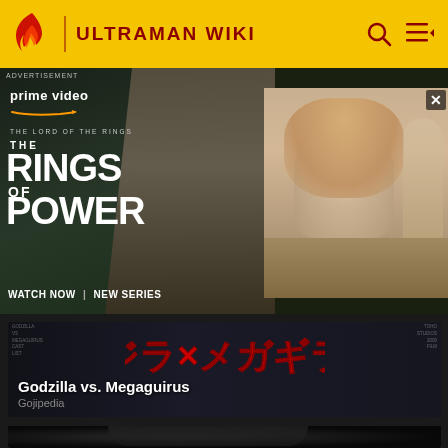ULTRAMAN WIKI
[Figure (screenshot): Amazon Prime Video advertisement for The Lord of the Rings: The Rings of Power. Left panel shows stone orc/goblin figure with RINGS OF POWER text and WATCH NOW | NEW SERIES CTA. Right panel shows blonde woman character from the show.]
[Figure (screenshot): Godzilla vs. Megaguirus movie card with red Japanese kanji logo on dark background]
Godzilla vs. Megaguirus
Gojipedia
[Figure (photo): Dark card showing a 3D rendered or toy robot/mech figure in silver/grey armor with equipment, against black background]